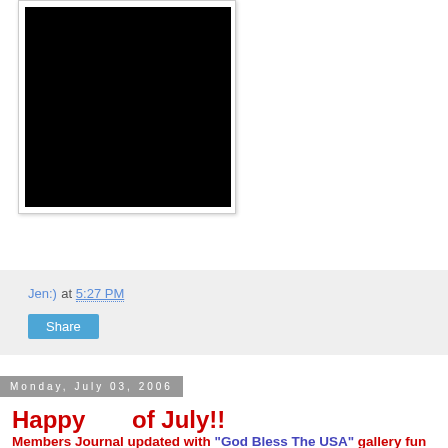[Figure (photo): Dark/black photograph, nearly entirely black image in a white-bordered photo frame]
Jen:) at 5:27 PM
Share
Monday, July 03, 2006
Happy      of July!!
Members Journal updated with "God Bless The USA" gallery fun pics:) and
12 Days out Progress Pics...I have already achieved my goal of being my very best this year!..I am carrying more muscle than ever before and have achieved my best level of conditioning to date. My symetry and v-taper